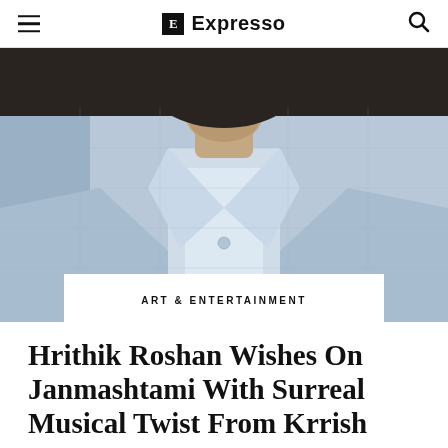Expresso
[Figure (photo): Photo of a man from neck down wearing a light blue checked blazer and light blue button-up shirt, against a dark background]
ART & ENTERTAINMENT
Hrithik Roshan Wishes On Janmashtami With Surreal Musical Twist From Krrish